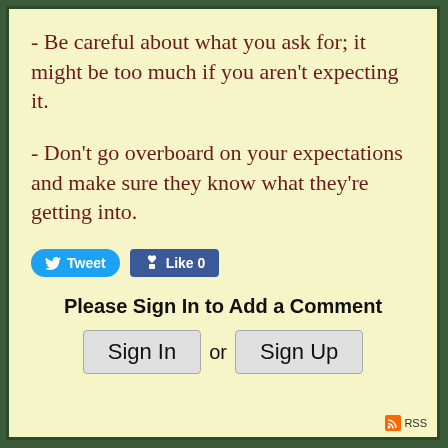- Be careful about what you ask for; it might be too much if you aren't expecting it.
- Don't go overboard on your expectations and make sure they know what they're getting into.
[Figure (screenshot): Social media sharing buttons: Tweet (Twitter) and Like 0 (Facebook)]
Please Sign In to Add a Comment
Sign In or Sign Up